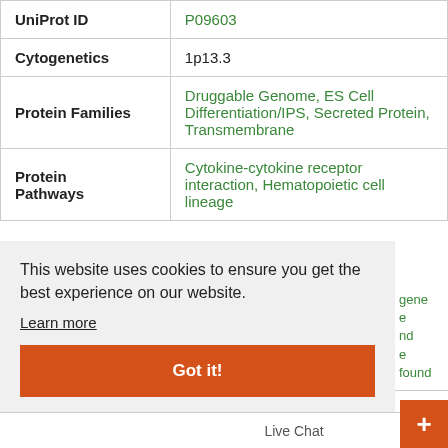| Field | Value |
| --- | --- |
| UniProt ID | P09603 |
| Cytogenetics | 1p13.3 |
| Protein Families | Druggable Genome, ES Cell Differentiation/IPS, Secreted Protein, Transmembrane |
| Protein Pathways | Cytokine-cytokine receptor interaction, Hematopoietic cell lineage |
This website uses cookies to ensure you get the best experience on our website.
Learn more
Got it!
Live Chat